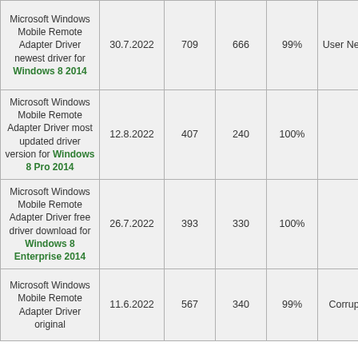| Microsoft Windows Mobile Remote Adapter Driver newest driver for Windows 8 2014 | 30.7.2022 | 709 | 666 | 99% | User Negligence |
| Microsoft Windows Mobile Remote Adapter Driver most updated driver version for Windows 8 Pro 2014 | 12.8.2022 | 407 | 240 | 100% | - |
| Microsoft Windows Mobile Remote Adapter Driver free driver download for Windows 8 Enterprise 2014 | 26.7.2022 | 393 | 330 | 100% | - |
| Microsoft Windows Mobile Remote Adapter Driver original ... | 11.6.2022 | 567 | 340 | 99% | Corrupted OS |